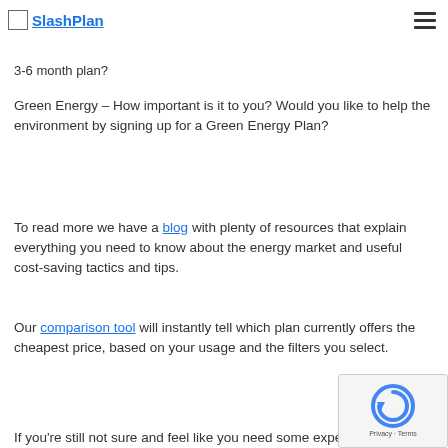SlashPlan
Term Length – Would you rather have peace of mind for the long term (12+ months), or would like to stick to a short-term 3-6 month plan?
Green Energy – How important is it to you? Would you like to help the environment by signing up for a Green Energy Plan?
To read more we have a blog with plenty of resources that explain everything you need to know about the energy market and useful cost-saving tactics and tips.
Our comparison tool will instantly tell which plan currently offers the cheapest price, based on your usage and the filters you select.
If you're still not sure and feel like you need some expert